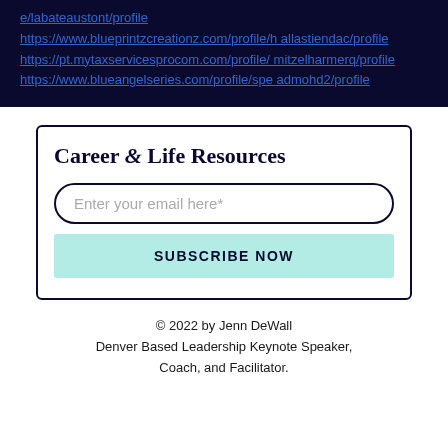e/labateaustont/profile
https://www.blueprintzcreationz.com/profile/hallastiendac/profile
https://pt.mytaxservicesprocom.com/profile/mitzelharmerq/profile
https://www.blueangelseries.com/profile/speadmohd2/profile
Career & Life Resources
Enter your email here*
SUBSCRIBE NOW
© 2022 by Jenn DeWall
Denver Based Leadership Keynote Speaker, Coach, and Facilitator.